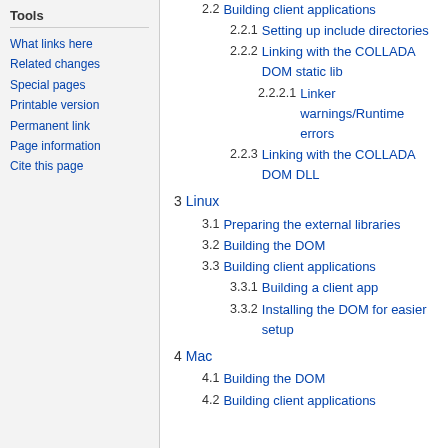Tools
What links here
Related changes
Special pages
Printable version
Permanent link
Page information
Cite this page
2.2 Building client applications
2.2.1 Setting up include directories
2.2.2 Linking with the COLLADA DOM static lib
2.2.2.1 Linker warnings/Runtime errors
2.2.3 Linking with the COLLADA DOM DLL
3 Linux
3.1 Preparing the external libraries
3.2 Building the DOM
3.3 Building client applications
3.3.1 Building a client app
3.3.2 Installing the DOM for easier setup
4 Mac
4.1 Building the DOM
4.2 Building client applications